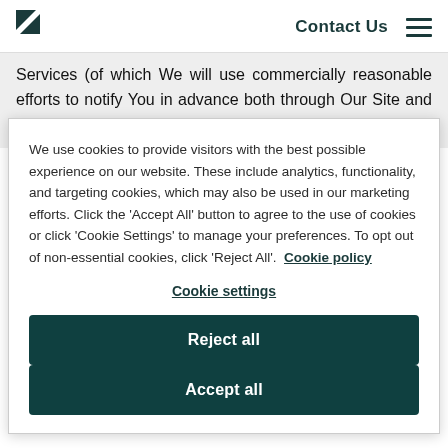Contact Us
Services (of which We will use commercially reasonable efforts to notify You in advance both through Our Site and a notice to Your Account owner and Agents) ("Planned
We use cookies to provide visitors with the best possible experience on our website. These include analytics, functionality, and targeting cookies, which may also be used in our marketing efforts. Click the 'Accept All' button to agree to the use of cookies or click 'Cookie Settings' to manage your preferences. To opt out of non-essential cookies, click 'Reject All'. Cookie policy
Cookie settings
Reject all
Accept all